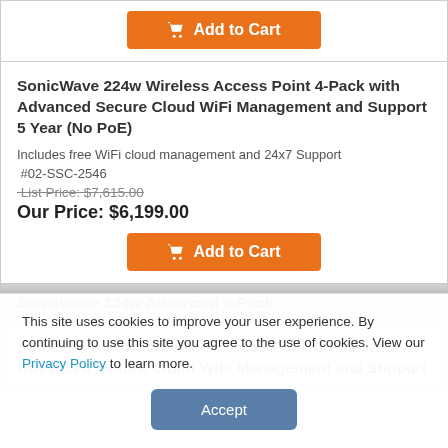Add to Cart (button)
SonicWave 224w Wireless Access Point 4-Pack with Advanced Secure Cloud WiFi Management and Support 5 Year (No PoE)
Includes free WiFi cloud management and 24x7 Support
#02-SSC-2546
List Price: $7,615.00
Our Price: $6,199.00
Add to Cart (button)
SonicWave 224w Advanced 8-Pack
SonicWave 224w Wireless Access Point 8-Pack with Advanced Secure Cloud WiFi Management and Support
This site uses cookies to improve your user experience. By continuing to use this site you agree to the use of cookies. View our Privacy Policy to learn more.
Accept